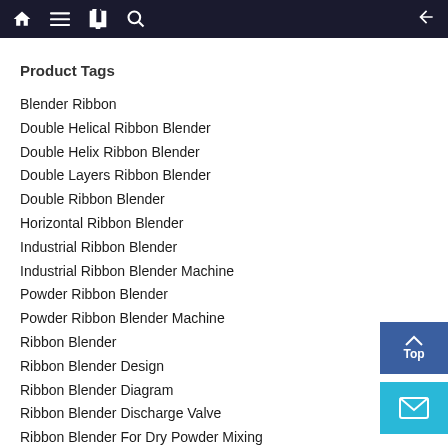Navigation bar with home, menu, bookmarks, search icons and back arrow
Product Tags
Blender Ribbon
Double Helical Ribbon Blender
Double Helix Ribbon Blender
Double Layers Ribbon Blender
Double Ribbon Blender
Horizontal Ribbon Blender
Industrial Ribbon Blender
Industrial Ribbon Blender Machine
Powder Ribbon Blender
Powder Ribbon Blender Machine
Ribbon Blender
Ribbon Blender Design
Ribbon Blender Diagram
Ribbon Blender Discharge Valve
Ribbon Blender For Dry Powder Mixing
Ribbon Blender For Powder
Ribbon Blender For Powder Mixing